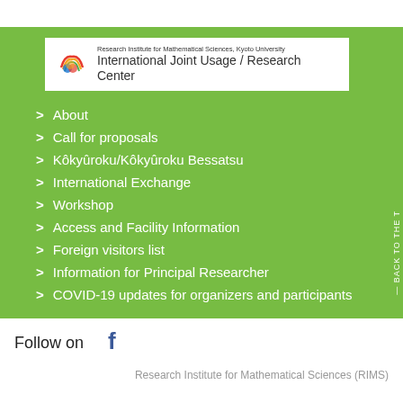[Figure (logo): RIMS International Joint Usage / Research Center logo with RIMS rainbow icon and text: 'Research Institute for Mathematical Sciences, Kyoto University — International Joint Usage / Research Center']
> About
> Call for proposals
> Kôkyûroku/Kôkyûroku Bessatsu
> International Exchange
> Workshop
> Access and Facility Information
> Foreign visitors list
> Information for Principal Researcher
> COVID-19 updates for organizers and participants
Follow on
[Figure (logo): Facebook logo icon (blue 'f')]
Research Institute for Mathematical Sciences (RIMS)